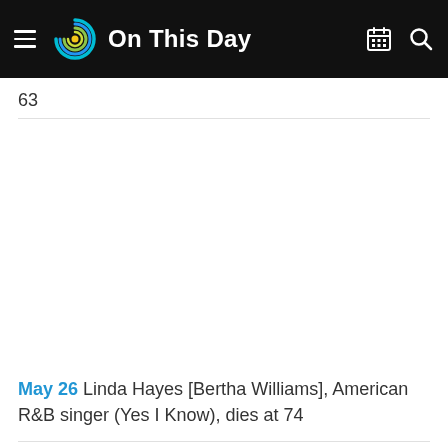On This Day
63
May 26 Linda Hayes [Bertha Williams], American R&B singer (Yes I Know), dies at 74